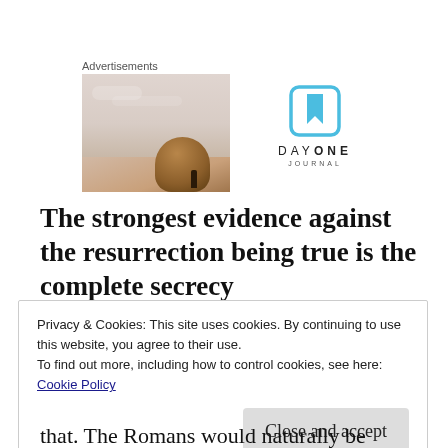[Figure (photo): Advertisement photo showing a person from behind with sky background, next to Day One Journal logo]
The strongest evidence against the resurrection being true is the complete secrecy
Privacy & Cookies: This site uses cookies. By continuing to use this website, you agree to their use.
To find out more, including how to control cookies, see here:
Cookie Policy
Close and accept
that. The Romans would naturally be interested